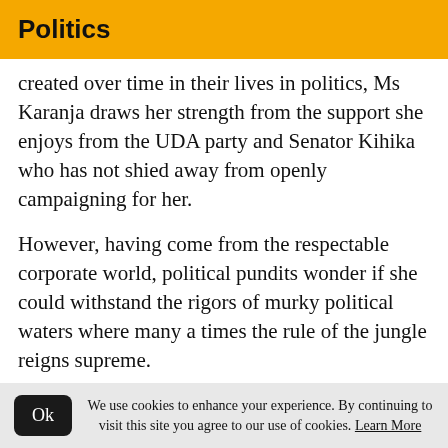Politics
created over time in their lives in politics, Ms Karanja draws her strength from the support she enjoys from the UDA party and Senator Kihika who has not shied away from openly campaigning for her.
However, having come from the respectable corporate world, political pundits wonder if she could withstand the rigors of murky political waters where many a times the rule of the jungle reigns supreme.
(truncated text partially visible)
We use cookies to enhance your experience. By continuing to visit this site you agree to our use of cookies. Learn More